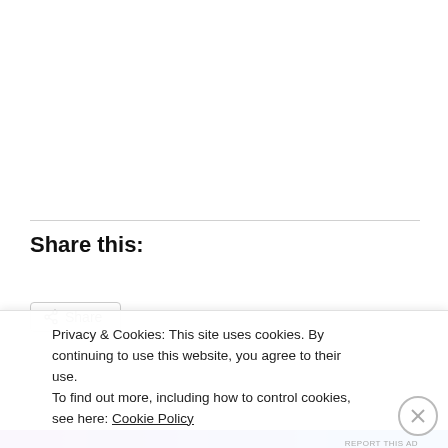Share this:
Privacy & Cookies: This site uses cookies. By continuing to use this website, you agree to their use.
To find out more, including how to control cookies, see here: Cookie Policy
Close and accept